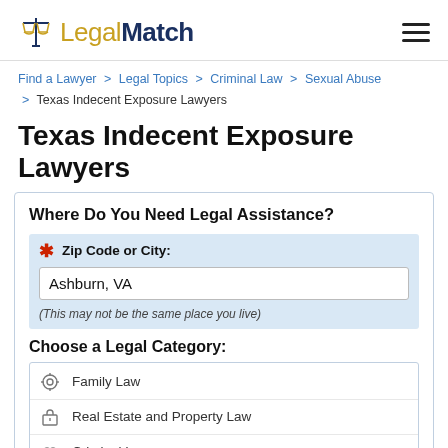LegalMatch
Find a Lawyer > Legal Topics > Criminal Law > Sexual Abuse > Texas Indecent Exposure Lawyers
Texas Indecent Exposure Lawyers
Where Do You Need Legal Assistance?
Zip Code or City: Ashburn, VA (This may not be the same place you live)
Choose a Legal Category:
Family Law
Real Estate and Property Law
Criminal Law